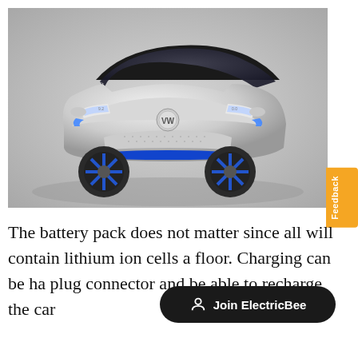[Figure (photo): Front view of a Volkswagen I.D. electric concept car in silver/white with blue accents and distinctive LED headlights, photographed against a light grey background.]
The battery pack does not matter since all will contain lithium ion cells a floor. Charging can be ha plug connector and be able to recharge the car